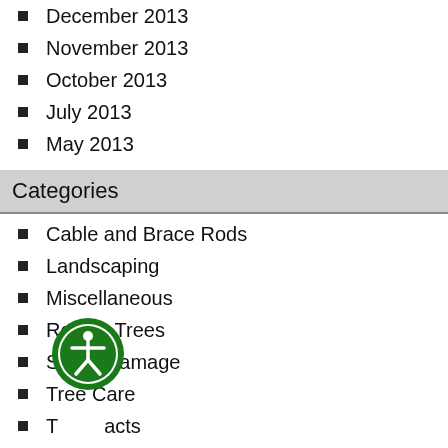December 2013
November 2013
October 2013
July 2013
May 2013
Categories
Cable and Brace Rods
Landscaping
Miscellaneous
Rotting Trees
Storm Damage
Tree Care
Tree Facts
Tree Planting
Tree Pruning